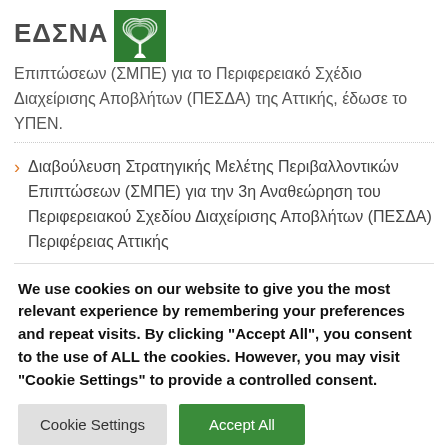ΕΔΣΝΑ
Επιπτώσεων (ΣΜΠΕ) για το Περιφερειακό Σχέδιο Διαχείρισης Αποβλήτων (ΠΕΣΔΑ) της Αττικής, έδωσε το ΥΠΕΝ.
Διαβούλευση Στρατηγικής Μελέτης Περιβαλλοντικών Επιπτώσεων (ΣΜΠΕ) για την 3η Αναθεώρηση του Περιφερειακού Σχεδίου Διαχείρισης Αποβλήτων (ΠΕΣΔΑ) Περιφέρειας Αττικής
We use cookies on our website to give you the most relevant experience by remembering your preferences and repeat visits. By clicking "Accept All", you consent to the use of ALL the cookies. However, you may visit "Cookie Settings" to provide a controlled consent.